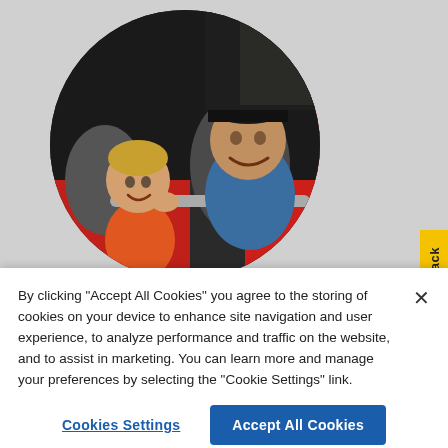[Figure (photo): Circular cropped photo of a young child and an adult man smiling inside a red vehicle or ride attraction.]
By clicking “Accept All Cookies” you agree to the storing of cookies on your device to enhance site navigation and user experience, to analyze performance and traffic on the website, and to assist in marketing. You can learn more and manage your preferences by selecting the “Cookie Settings” link.
Cookies Settings
Accept All Cookies